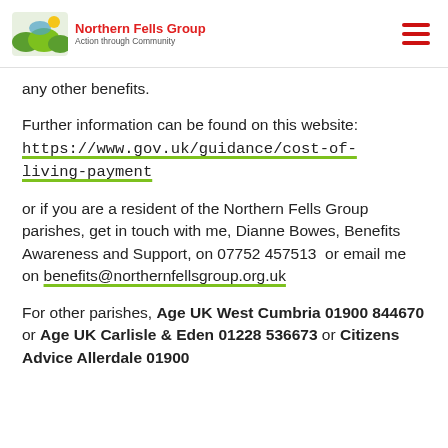Northern Fells Group — Action through Community
any other benefits.
Further information can be found on this website:  https://www.gov.uk/guidance/cost-of-living-payment
or if you are a resident of the Northern Fells Group parishes, get in touch with me, Dianne Bowes, Benefits Awareness and Support, on 07752 457513  or email me on benefits@northernfellsgroup.org.uk
For other parishes, Age UK West Cumbria 01900 844670 or Age UK Carlisle & Eden 01228 536673 or Citizens Advice Allerdale 01900